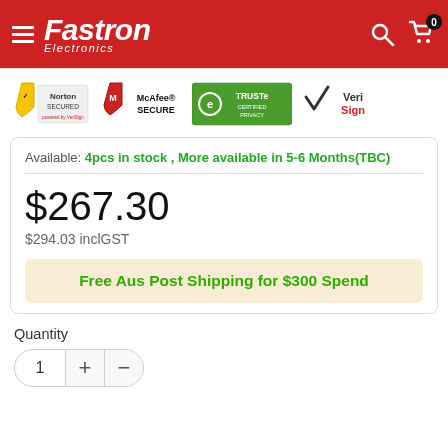Fastron Electronics
[Figure (logo): Security trust badges: Norton Secured, McAfee Secure, TRUSTe Certified Privacy, VeriSign]
Available: 4pcs in stock , More available in 5-6 Months(TBC)
$267.30
$294.03 inclGST
Free Aus Post Shipping for $300 Spend
Quantity
1